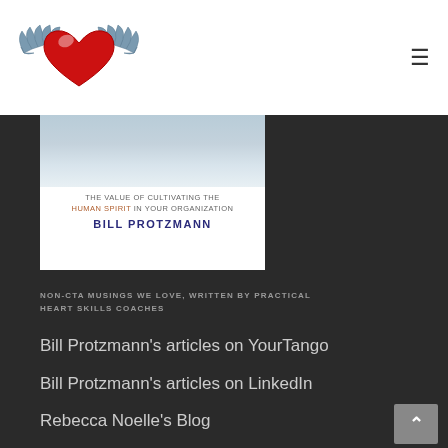[Figure (logo): Heart with wings logo - red heart with blue-grey wings on white background]
[Figure (illustration): Book cover showing crowd of people with text: THE VALUE OF CULTIVATING THE HUMAN SPIRIT IN YOUR ORGANIZATION, BILL PROTZMANN]
NON-CTA MUSINGS WE LOVE, WRITTEN BY PRACTICAL HEART SKILLS COACHES
Bill Protzmann's articles on YourTango
Bill Protzmann's articles on LinkedIn
Rebecca Noelle's Blog